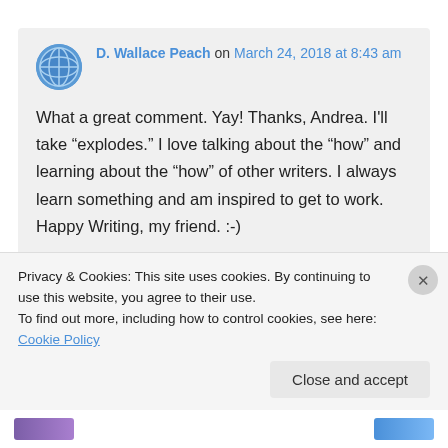D. Wallace Peach on March 24, 2018 at 8:43 am

What a great comment. Yay! Thanks, Andrea. I'll take “explodes.” I love talking about the “how” and learning about the “how” of other writers. I always learn something and am inspired to get to work. Happy Writing, my friend. :-)
Privacy & Cookies: This site uses cookies. By continuing to use this website, you agree to their use.
To find out more, including how to control cookies, see here: Cookie Policy